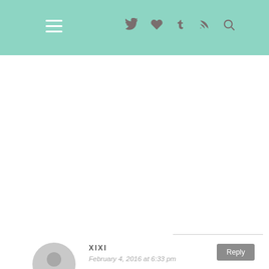Navigation bar with hamburger menu and icons: Twitter, heart/like, Tumblr, RSS, search
XIXI
February 4, 2016 at 6:33 pm
Reply